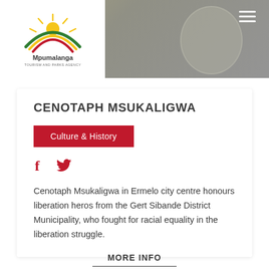[Figure (logo): Mpumalanga Tourism and Parks Agency logo with sun and rainbow arc, in white box on grey header]
CENOTAPH MSUKALIGWA
Culture & History
[Figure (infographic): Facebook and Twitter social media icons in red]
Cenotaph Msukaligwa in Ermelo city centre honours liberation heros from the Gert Sibande District Municipality, who fought for racial equality in the liberation struggle.
MORE INFO